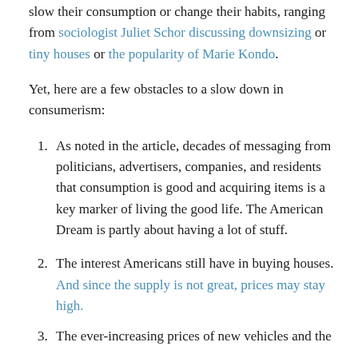slow their consumption or change their habits, ranging from sociologist Juliet Schor discussing downsizing or tiny houses or the popularity of Marie Kondo.
Yet, here are a few obstacles to a slow down in consumerism:
As noted in the article, decades of messaging from politicians, advertisers, companies, and residents that consumption is good and acquiring items is a key marker of living the good life. The American Dream is partly about having a lot of stuff.
The interest Americans still have in buying houses. And since the supply is not great, prices may stay high.
The ever-increasing prices of new vehicles and the